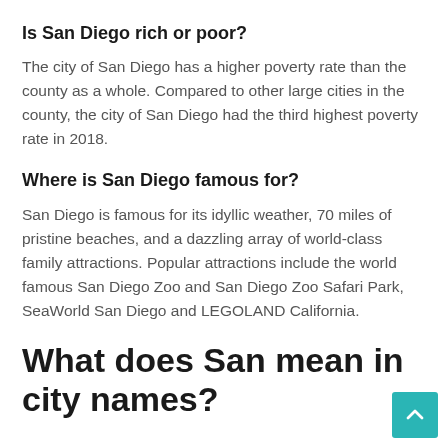Is San Diego rich or poor?
The city of San Diego has a higher poverty rate than the county as a whole. Compared to other large cities in the county, the city of San Diego had the third highest poverty rate in 2018.
Where is San Diego famous for?
San Diego is famous for its idyllic weather, 70 miles of pristine beaches, and a dazzling array of world-class family attractions. Popular attractions include the world famous San Diego Zoo and San Diego Zoo Safari Park, SeaWorld San Diego and LEGOLAND California.
What does San mean in city names?